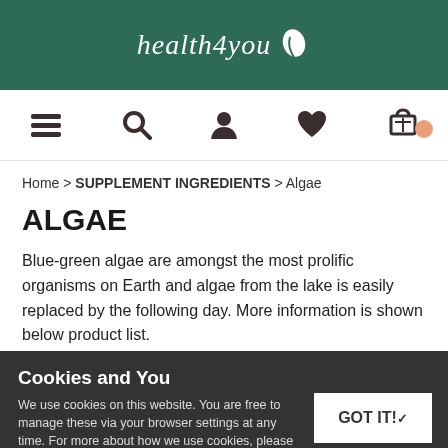health4you
[Figure (screenshot): Navigation icon bar with hamburger menu, search, user, heart/wishlist, and shopping cart icons]
Home > SUPPLEMENT INGREDIENTS > Algae
ALGAE
Blue-green algae are amongst the most prolific organisms on Earth and algae from the lake is easily replaced by the following day. More information is shown below product list.
Cookies and You
We use cookies on this website. You are free to manage these via your browser settings at any time. For more about how we use cookies, please see our Cookie Policy.